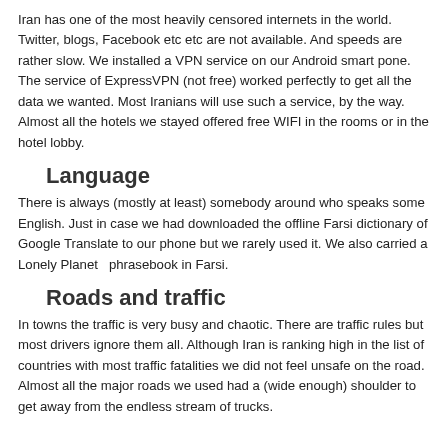Iran has one of the most heavily censored internets in the world. Twitter, blogs, Facebook etc etc are not available. And speeds are rather slow. We installed a VPN service on our Android smart pone. The service of ExpressVPN (not free) worked perfectly to get all the data we wanted. Most Iranians will use such a service, by the way. Almost all the hotels we stayed offered free WIFI in the rooms or in the hotel lobby.
Language
There is always (mostly at least) somebody around who speaks some English. Just in case we had downloaded the offline Farsi dictionary of Google Translate to our phone but we rarely used it. We also carried a Lonely Planet  phrasebook in Farsi.
Roads and traffic
In towns the traffic is very busy and chaotic. There are traffic rules but most drivers ignore them all. Although Iran is ranking high in the list of countries with most traffic fatalities we did not feel unsafe on the road. Almost all the major roads we used had a (wide enough) shoulder to get away from the endless stream of trucks.